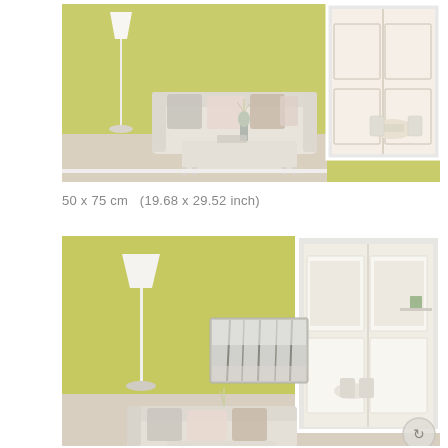[Figure (photo): Living room with yellow-green walls, white sofa with decorative pillows, white floor lamp, small white coffee table, and open white double doors leading to a dining area with natural light.]
50 x 75 cm   (19.68 x 29.52 inch)
[Figure (photo): Same living room from a wider angle showing a winter forest canvas print hanging on the yellow-green wall, white floor lamp, white sofa with pillows, and open white French doors leading to a bright dining room.]